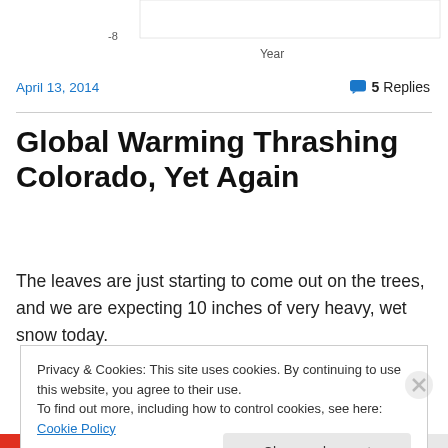[Figure (continuous-plot): Partial chart visible at top of page showing a line chart with y-axis label '-8' and x-axis label 'Year'. Only the bottom portion is visible.]
April 13, 2014
💬 5 Replies
Global Warming Thrashing Colorado, Yet Again
The leaves are just starting to come out on the trees, and we are expecting 10 inches of very heavy, wet snow today.
Privacy & Cookies: This site uses cookies. By continuing to use this website, you agree to their use.
To find out more, including how to control cookies, see here: Cookie Policy
Close and accept